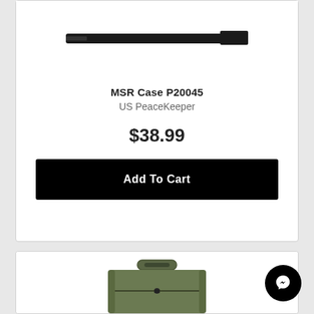[Figure (photo): Product photo of MSR Case P20045 rifle case from US PeaceKeeper, shown as a dark elongated shape against white background]
MSR Case P20045
US PeaceKeeper
$38.99
Add To Cart
[Figure (photo): Product photo of a green/olive tactical pistol case bag with handle and zipper, second product listing partially visible]